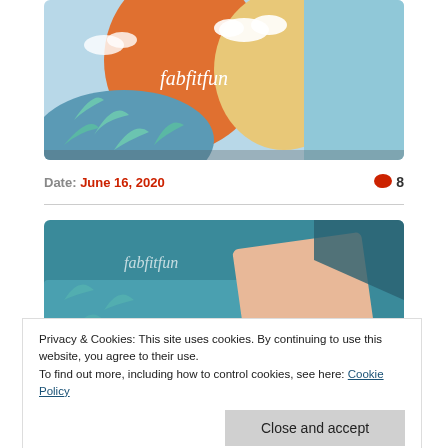[Figure (photo): FabFitFun subscription box with colorful illustrated artwork showing a woman with orange hair, leaves, clouds on orange, blue, and yellow background with 'fabfitfun' logo in white script]
Date: June 16, 2020
8 comments
[Figure (photo): FabFitFun subscription box interior showing teal box with white leaf pattern and 'fabfitfun' script, with a pink/peach card visible inside]
Privacy & Cookies: This site uses cookies. By continuing to use this website, you agree to their use.
To find out more, including how to control cookies, see here: Cookie Policy
Close and accept